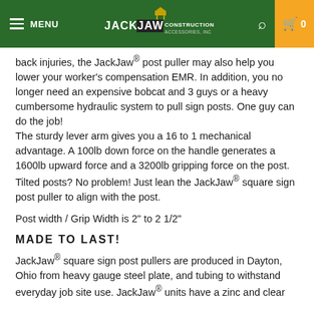MENU | JACKJAW CONSTRUCTION ACCESSORIES INC | [search] [cart] 0
back injuries, the JackJaw® post puller may also help you lower your worker's compensation EMR.  In addition, you no longer need an expensive bobcat and 3 guys or a heavy cumbersome hydraulic system to pull sign posts.  One guy can do the job! The sturdy lever arm gives you a 16 to 1 mechanical advantage.  A 100lb down force on the handle generates a 1600lb upward force and a 3200lb gripping force on the post.  Tilted posts?  No problem!  Just lean the JackJaw® square sign post puller to align with the post.
Post width / Grip Width is 2" to 2 1/2"
MADE TO LAST!
JackJaw® square sign post pullers are produced in Dayton, Ohio from heavy gauge steel plate, and tubing to withstand everyday job site use.  JackJaw® units have a zinc and clear